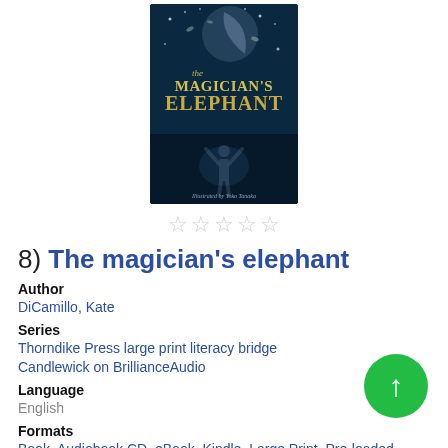[Figure (illustration): Book cover of 'The Magician's Elephant' with teal/dark blue background, crescent moon, stars, a figure raising arms, illustrated by Yoko Tanaka]
[Figure (other): Five empty/outline star rating icons]
8) The magician's elephant
Author
DiCamillo, Kate
Series
Thorndike Press large print literacy bridge
Candlewick on BrillianceAudio
Language
English
Formats
Book, Audiobook CD, eBook, Kindle, Large Print, Pre-loaded Audio
Description